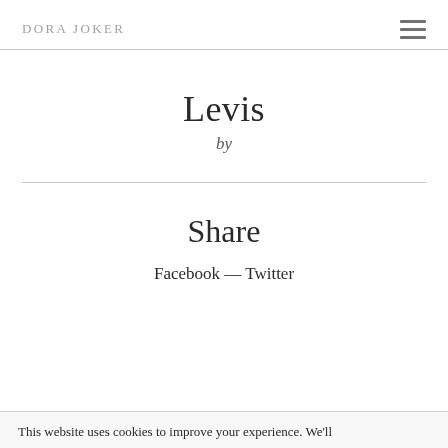DORA JOKER
Levis
by
Share
Facebook — Twitter
This website uses cookies to improve your experience. We'll